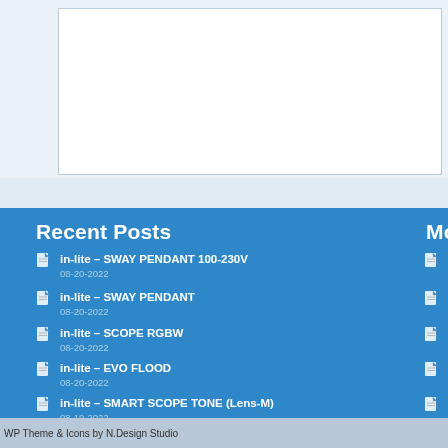Recent Posts
in-lite – SWAY PENDANT 100-230V
08-20-2022
in-lite – SWAY PENDANT
08-20-2022
in-lite – SCOPE RGBW
08-20-2022
in-lite – EVO FLOOD
08-20-2022
in-lite – SMART SCOPE TONE (Lens-M)
08-19-2022
Most popular po…
Smart charging at …
3 comments
This is how Big Oil…
1 comment
Building my own S…
1 comment
Renewable Energy…
1 comment
Spectrum of moon…
1 comment
WP Theme & Icons by N.Design Studio